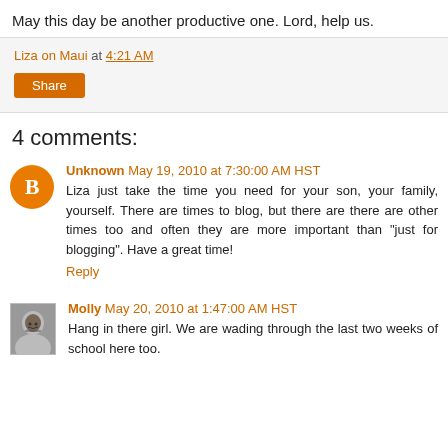May this day be another productive one. Lord, help us.
Liza on Maui at 4:21 AM
Share
4 comments:
Unknown May 19, 2010 at 7:30:00 AM HST
Liza just take the time you need for your son, your family, yourself. There are times to blog, but there are there are other times too and often they are more important than "just for blogging". Have a great time!
Reply
Molly May 20, 2010 at 1:47:00 AM HST
Hang in there girl. We are wading through the last two weeks of school here too.